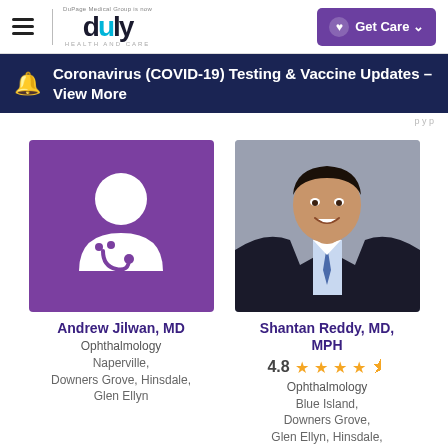DuPage Medical Group is now duly HEALTH AND CARE
Coronavirus (COVID-19) Testing & Vaccine Updates – View More
[Figure (illustration): Purple square with white doctor silhouette icon (head circle and stethoscope)]
Andrew Jilwan, MD
Ophthalmology
Naperville, Downers Grove, Hinsdale, Glen Ellyn
[Figure (photo): Professional headshot of Dr. Shantan Reddy, a male physician wearing a dark suit with light blue tie, smiling against a grey background]
Shantan Reddy, MD, MPH
4.8 stars rating
Ophthalmology
Blue Island, Downers Grove, Glen Ellyn, Hinsdale,